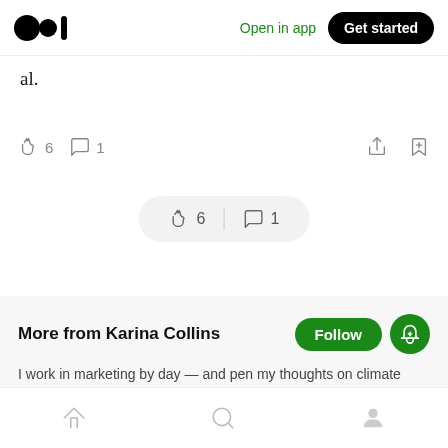Medium logo | Open in app | Get started
al.
👏 6   💬 1
[Figure (screenshot): Floating pill showing clap count 6 and comment count 1 on a light gray rounded pill background]
More from Karina Collins
I work in marketing by day — and pen my thoughts on climate change by night.
Home | Search | Profile